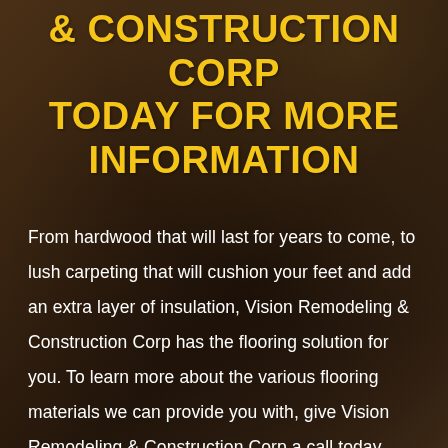& CONSTRUCTION CORP TODAY FOR MORE INFORMATION
From hardwood that will last for years to come, to lush carpeting that will cushion your feet and add an extra layer of insulation, Vision Remodeling & Construction Corp has the flooring solution for you. To learn more about the various flooring materials we can provide you with, give Vision Remodeling & Construction Corp a call today.